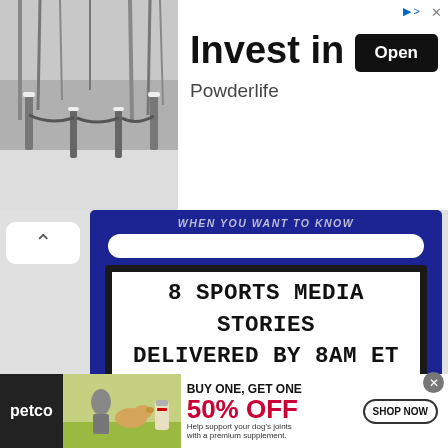[Figure (advertisement): Top banner ad for 'Invest in Life' by Powderlife. Left side shows a black-and-white photo of a snowy winter path with wooden fence posts. Right side shows large bold text 'Invest in Life', subtitle 'Powderlife', and a black 'Open' button. Small ad indicator icon and X in top right corner.]
[Figure (infographic): Blue background content block on a light gray section. Shows italic text 'WHEN YOU WANT TO KNOW' at top. White pill/oval shape below. Then a bordered sign-style text block reading '8 SPORTS MEDIA STORIES DELIVERED BY 8AM ET 5 DAYS PER WEEK STRAIGHT TO YOUR INBOX' in bold monospace font. Dark bottom bar. Chevron/up arrow on the left.]
[Figure (advertisement): Bottom banner ad for Petco. Dark left section with petco logo. Center shows a woman with a golden retriever and a supplement bottle. Right side shows bold text 'BUY ONE, GET ONE 50% OFF' in red, 'Help support your dog's joints with a premium supplement.' and a 'SHOP NOW' button outlined. Circle X close button in top right.]